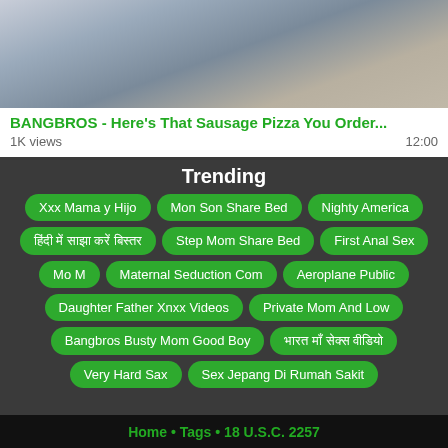[Figure (photo): Video thumbnail showing people in a room]
BANGBROS - Here's That Sausage Pizza You Order...
1K views   12:00
Trending
Xxx Mama y Hijo
Mon Son Share Bed
Nighty America
हिंदी में साझा करें बिस्तर
Step Mom Share Bed
First Anal Sex
Mo M
Maternal Seduction Com
Aeroplane Public
Daughter Father Xnxx Videos
Private Mom And Low
Bangbros Busty Mom Good Boy
भारत माँ सेक्स वीडियो
Very Hard Sax
Sex Jepang Di Rumah Sakit
Home • Tags • 18 U.S.C. 2257